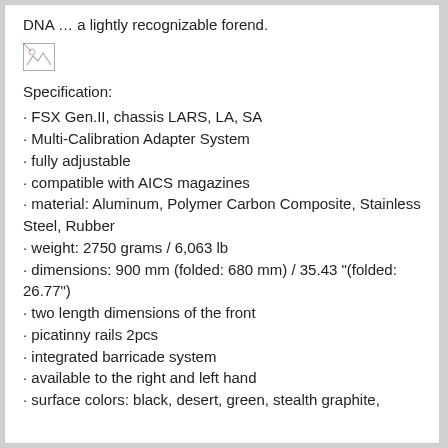DNA … a lightly recognizable forend.
[Figure (other): Broken/missing image placeholder (small image icon)]
Specification:
FSX Gen.II, chassis LARS, LA, SA
Multi-Calibration Adapter System
fully adjustable
compatible with AICS magazines
material: Aluminum, Polymer Carbon Composite, Stainless Steel, Rubber
weight: 2750 grams / 6,063 lb
dimensions: 900 mm (folded: 680 mm) / 35.43 "(folded: 26.77")
two length dimensions of the front
picatinny rails 2pcs
integrated barricade system
available to the right and left hand
surface colors: black, desert, green, stealth graphite,